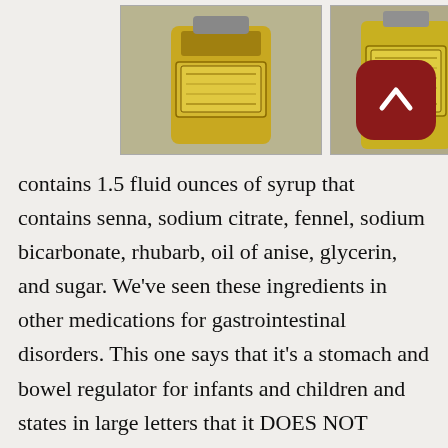[Figure (photo): Two yellow/amber glass medicine bottles photographed from above against a light gray background. Left bottle is slightly larger, both have decorative gold labels.]
contains 1.5 fluid ounces of syrup that contains senna, sodium citrate, fennel, sodium bicarbonate, rhubarb, oil of anise, glycerin, and sugar. We've seen these ingredients in other medications for gastrointestinal disorders. This one says that it's a stomach and bowel regulator for infants and children and states in large letters that it DOES NOT contain morphine, opium or alcohol. POSITIVELY NOT NARCOTIC. This is an improvement over the practice of giving teething or otherwise fussing children a dose of laudanum. The bottle has a curious label. It's a paper cylinder, open at the cap end and folded over and glued